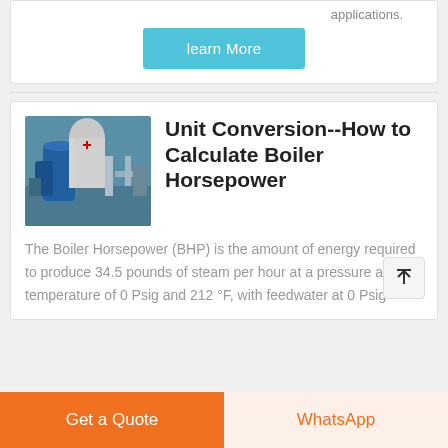applications.
learn More
[Figure (photo): Industrial boiler equipment in a facility]
Unit Conversion--How to Calculate Boiler Horsepower
The Boiler Horsepower (BHP) is the amount of energy required to produce 34.5 pounds of steam per hour at a pressure and temperature of 0 Psig and 212 °F, with feedwater at 0 Psig
Get a Quote
WhatsApp